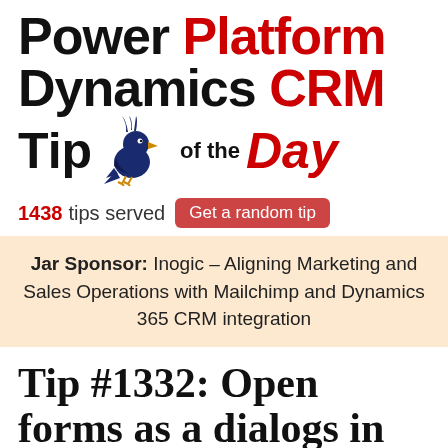Power Platform Dynamics CRM Tip of the Day
1438 tips served  Get a random tip
Jar Sponsor: Inogic – Aligning Marketing and Sales Operations with Mailchimp and Dynamics 365 CRM integration
Tip #1332: Open forms as a dialogs in model-